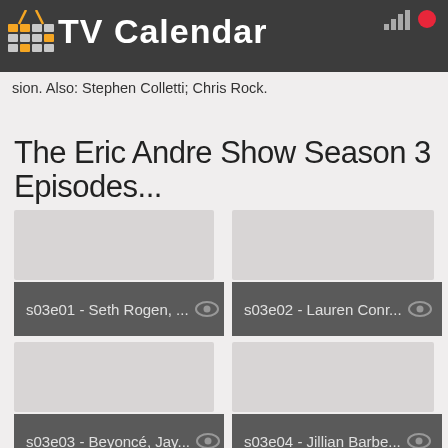TV Calendar
sion. Also: Stephen Colletti; Chris Rock.
The Eric Andre Show Season 3 Episodes...
s03e01 - Seth Rogen, ...
s03e02 - Lauren Conr...
s03e03 - Beyoncé, Jay...
s03e04 - Jillian Barbe...